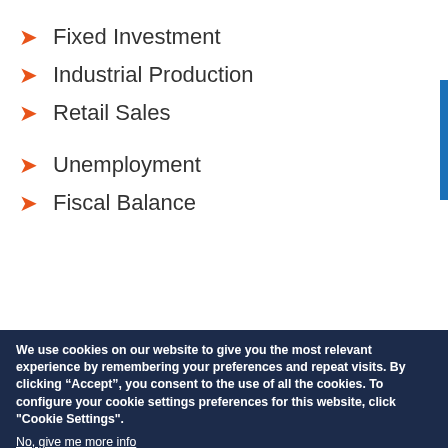Fixed Investment
Industrial Production
Retail Sales
Unemployment
Fiscal Balance
We use cookies on our website to give you the most relevant experience by remembering your preferences and repeat visits. By clicking “Accept”, you consent to the use of all the cookies. To configure your cookie settings preferences for this website, click "Cookie Settings".
No, give me more info
☑ Necessary cookies
Necessary cookies help make a website usable by enabling basic functions like page navigation and access to secure areas of the website. The website cannot function properly without these cookies.
☑ Preference cookies
Preference cookies enable a website to remember information that changes the way the website behaves or looks, like your preferred language or the region that you are in.
☑ Statistic cookies
Statistic cookies help website owners to understand how visitors interact